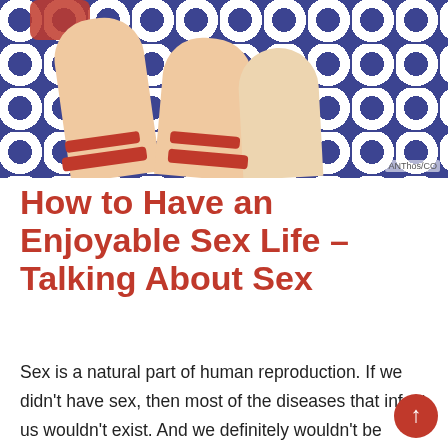[Figure (photo): Photo of person's legs/feet with red sandals on a blue and white floral patterned fabric background. Watermark reads 'ANTHos/CO' in bottom right corner.]
How to Have an Enjoyable Sex Life – Talking About Sex
Sex is a natural part of human reproduction. If we didn't have sex, then most of the diseases that infect us wouldn't exist. And we definitely wouldn't be running around with genital warts, herpes, and genital herpes. So if you're having trouble with your sex life, don't feel bad – it happens to a lot more people than you might think. This is quiet normal for those that visit Coventry